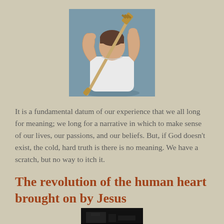[Figure (photo): A man in a white t-shirt seen from behind, holding a wooden back scratcher raised over his shoulder with both hands.]
It is a fundamental datum of our experience that we all long for meaning; we long for a narrative in which to make sense of our lives, our passions, and our beliefs. But, if God doesn't exist, the cold, hard truth is there is no meaning. We have a scratch, but no way to itch it.
The revolution of the human heart brought on by Jesus
[Figure (photo): A dark, partially visible photograph at the bottom of the page.]